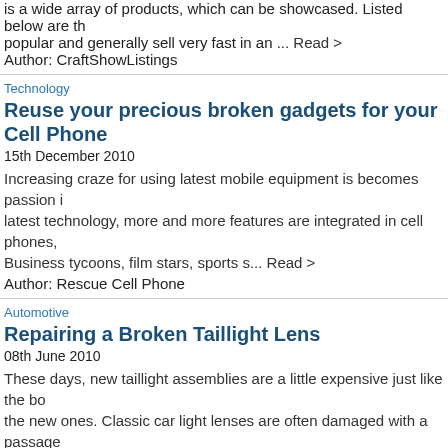is a wide array of products, which can be showcased. Listed below are the popular and generally sell very fast in an ... Read >
Author: CraftShowListings
Technology
Reuse your precious broken gadgets for your Cell Phone
15th December 2010
Increasing craze for using latest mobile equipment is becomes passion in latest technology, more and more features are integrated in cell phones, Business tycoons, film stars, sports s... Read >
Author: Rescue Cell Phone
Automotive
Repairing a Broken Taillight Lens
08th June 2010
These days, new taillight assemblies are a little expensive just like the new ones. Classic car light lenses are often damaged with a passage debris. Chips or small holes can be easil... Read >
Author: Tauqeer Ul Hassan
Self-Improvement
Tips To Help You Deepen Your Voice Naturally